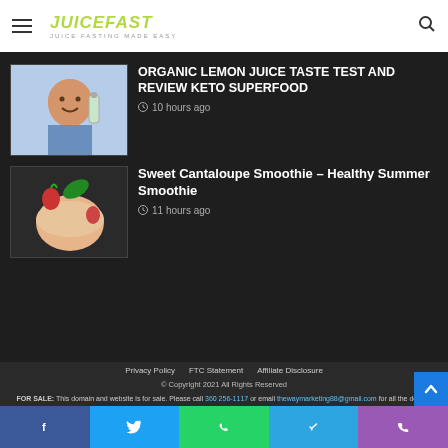JUICEFAST — JUICE FASTING MADE EASY
ORGANIC LEMON JUICE TASTE TEST AND REVIEW KETO SUPERFOOD
10 hours ago
Sweet Cantaloupe Smoothie – Healthy Summer Smoothie
11 hours ago
Privacy Policy   FTC Statement   Affiliate Disclosure
© Copyright 2021 All Rights Reserved
FOR SALE: This domain and website is for sale. Please call 360 256-1117 or email thewaymarketing88@gmail.com for all the details.